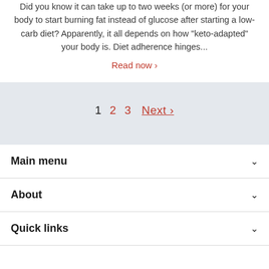Did you know it can take up to two weeks (or more) for your body to start burning fat instead of glucose after starting a low-carb diet? Apparently, it all depends on how "keto-adapted" your body is. Diet adherence hinges...
Read now ›
1  2  3  Next ›
Main menu
About
Quick links